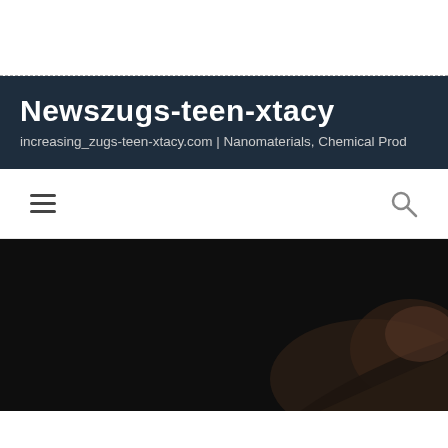Newszugs-teen-xtacy
increasing_zugs-teen-xtacy.com | Nanomaterials, Chemical Prod
[Figure (screenshot): Navigation bar with hamburger menu icon on the left and search icon on the right]
[Figure (photo): Dark close-up photo of what appears to be an animal or textured dark surface with some lighter tones in the lower right]